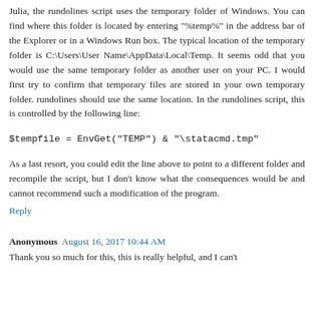Julia, the rundolines script uses the temporary folder of Windows. You can find where this folder is located by entering "%temp%" in the address bar of the Explorer or in a Windows Run box. The typical location of the temporary folder is C:\Users\User Name\AppData\Local\Temp. It seems odd that you would use the same temporary folder as another user on your PC. I would first try to confirm that temporary files are stored in your own temporary folder. rundolines should use the same location. In the rundolines script, this is controlled by the following line:
As a last resort, you could edit the line above to point to a different folder and recompile the script, but I don't know what the consequences would be and cannot recommend such a modification of the program.
Reply
Anonymous  August 16, 2017 10:44 AM
Thank you so much for this, this is really helpful, and I can't